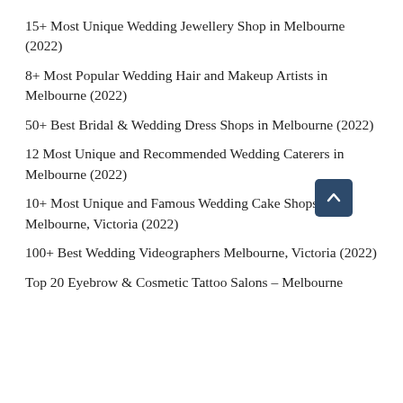15+ Most Unique Wedding Jewellery Shop in Melbourne (2022)
8+ Most Popular Wedding Hair and Makeup Artists in Melbourne (2022)
50+ Best Bridal & Wedding Dress Shops in Melbourne (2022)
12 Most Unique and Recommended Wedding Caterers in Melbourne (2022)
10+ Most Unique and Famous Wedding Cake Shops in Melbourne, Victoria (2022)
100+ Best Wedding Videographers Melbourne, Victoria (2022)
Top 20 Eyebrow & Cosmetic Tattoo Salons – Melbourne